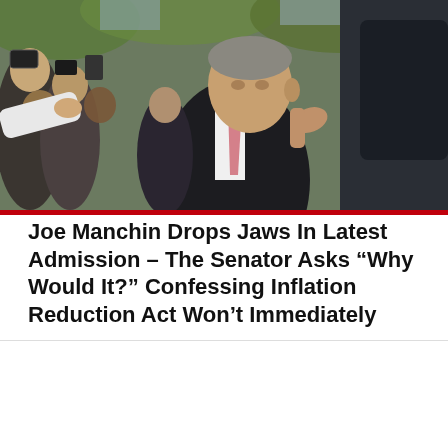[Figure (photo): A man in a dark suit and pink tie getting into a car, surrounded by press/media crowd with phones and cameras. Outdoor setting with trees in background.]
Joe Manchin Drops Jaws In Latest Admission – The Senator Asks “Why Would It?” Confessing Inflation Reduction Act Won’t Immediately
We use cookies on our website to give you the most relevant experience by remembering your preferences and repeat visits. By clicking “Accept”, you consent to the use of ALL the cookies.
Cookie Settings
ACCEPT